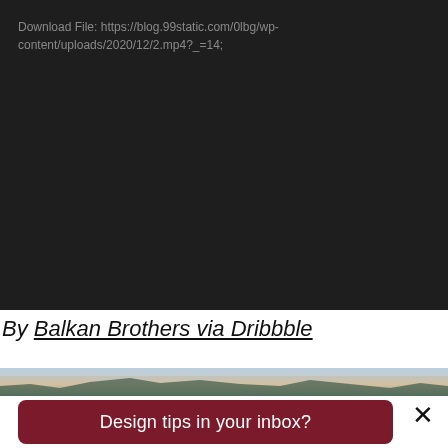Download File: https://blog.99static.com/0lbg/wp-content/uploads/2020/12/2.mp4?_=14;
By Balkan Brothers via Dribbble
[Figure (photo): Landscape photo strip showing mountains and sky]
Design tips in your inbox?
×